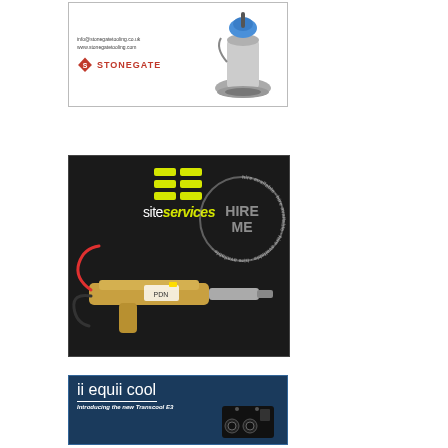[Figure (advertisement): Stonegate Tooling advertisement showing a floor grinding machine with company logo, website info@stonegatetooling.co.uk and www.stonegatetooling.com]
[Figure (advertisement): Site Services advertisement with yellow logo blocks and site services text on dark background, showing a hire tool/gun device with HIRE ME circular stamp overlay]
[Figure (advertisement): ii equii cool advertisement introducing the new Transcool E3 portable cooling unit on dark blue background with product features listed]